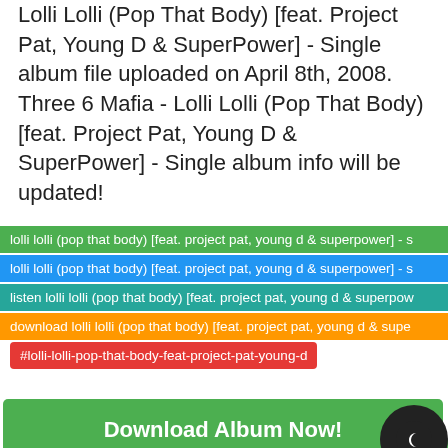Lolli Lolli (Pop That Body) [feat. Project Pat, Young D & SuperPower] - Single album file uploaded on April 8th, 2008. Three 6 Mafia - Lolli Lolli (Pop That Body) [feat. Project Pat, Young D & SuperPower] - Single album info will be updated!
lolli lolli (pop that body) [feat. project pat, young d & superpower] - s
lolli lolli (pop that body) [feat. project pat, young d & superpower] - s
listen lolli lolli (pop that body) [feat. project pat, young d & superpow
download lolli lolli (pop that body) [feat. project pat, young d & supe
#lolli-lolli-pop-that-body-feat-project-pat-young-d
Download Album Now!
Buy Album Now!